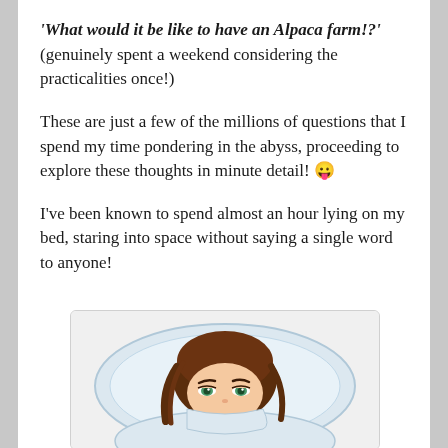'What would it be like to have an Alpaca farm!?' (genuinely spent a weekend considering the practicalities once!)
These are just a few of the millions of questions that I spend my time pondering in the abyss, proceeding to explore these thoughts in minute detail! 😛
I've been known to spend almost an hour lying on my bed, staring into space without saying a single word to anyone!
[Figure (illustration): Cartoon/bitmoji illustration of a girl with brown hair lying on a white pillow, peeking out with green eyes, appearing to be lying in bed staring into space.]